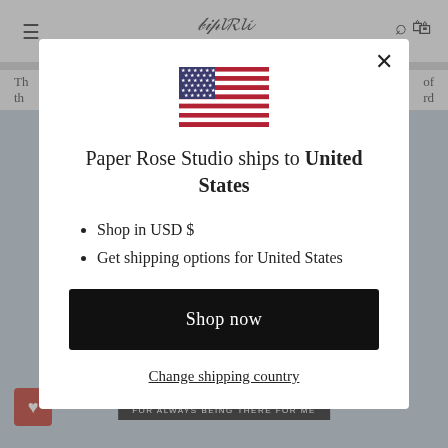[Figure (screenshot): Background website page partially visible — header with hamburger menu, logo, search and cart icons; text row; product image area with blue floral design; red heart button; card label saying FOR ALWAYS BEING THERE FOR ME]
[Figure (illustration): US flag SVG illustration centered in modal]
Paper Rose Studio ships to United States
Shop in USD $
Get shipping options for United States
Shop now
Change shipping country